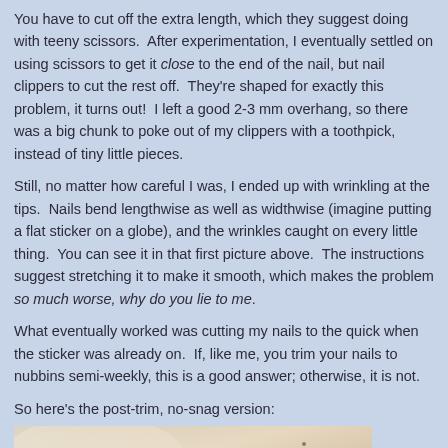You have to cut off the extra length, which they suggest doing with teeny scissors.  After experimentation, I eventually settled on using scissors to get it close to the end of the nail, but nail clippers to cut the rest off.  They're shaped for exactly this problem, it turns out!  I left a good 2-3 mm overhang, so there was a big chunk to poke out of my clippers with a toothpick, instead of tiny little pieces.
Still, no matter how careful I was, I ended up with wrinkling at the tips.  Nails bend lengthwise as well as widthwise (imagine putting a flat sticker on a globe), and the wrinkles caught on every little thing.  You can see it in that first picture above.  The instructions suggest stretching it to make it smooth, which makes the problem so much worse, why do you lie to me.
What eventually worked was cutting my nails to the quick when the sticker was already on.  If, like me, you trim your nails to nubbins semi-weekly, this is a good answer; otherwise, it is not.
So here's the post-trim, no-snag version:
[Figure (photo): A close-up photo of a hand with fingers curled, showing nails with nail stickers applied. The image is cropped and shows the tops of multiple fingers against a light background.]